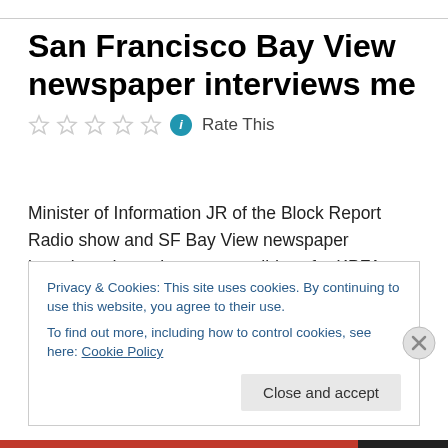San Francisco Bay View newspaper interviews me
Rate This
Minister of Information JR of the Block Report Radio show and SF Bay View newspaper interviewed me about my candidacy for KPFA. View the interview here or read below.
Privacy & Cookies: This site uses cookies. By continuing to use this website, you agree to their use.
To find out more, including how to control cookies, see here: Cookie Policy